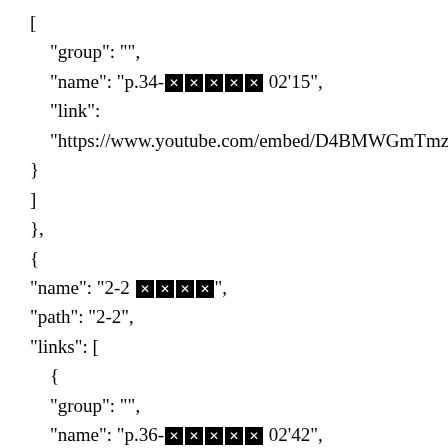[ "group": "", "name": "p.34-[redacted] 02'15", "link": "https://www.youtube.com/embed/D4BMWGmTmzI\r\n" } ] }, { "name": "2-2 [redacted]", "path": "2-2", "links": [ { "group": "", "name": "p.36-[redacted] 02'42", "link":